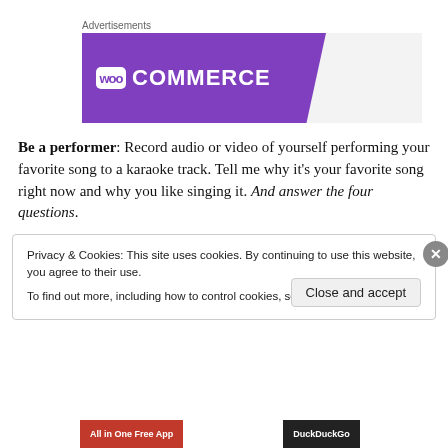Advertisements
[Figure (logo): WooCommerce advertisement banner with purple background and WooCommerce logo]
Be a performer: Record audio or video of yourself performing your favorite song to a karaoke track. Tell me why it's your favorite song right now and why you like singing it. And answer the four questions.
Privacy & Cookies: This site uses cookies. By continuing to use this website, you agree to their use.
To find out more, including how to control cookies, see here: Cookie Policy
Close and accept